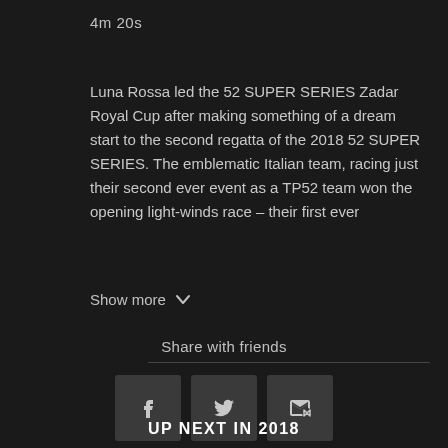4m 20s
Luna Rossa led the 52 SUPER SERIES Zadar Royal Cup after making something of a dream start to the second regatta of the 2018 52 SUPER SERIES. The emblematic Italian team, racing just their second ever event as a TP52 team won the opening light-winds race – their first ever
Show more
Share with friends
[Figure (infographic): Three share buttons: Facebook (f icon), Twitter (bird icon), and Email (envelope icon), displayed as dark grey square buttons]
UP NEXT IN 2018